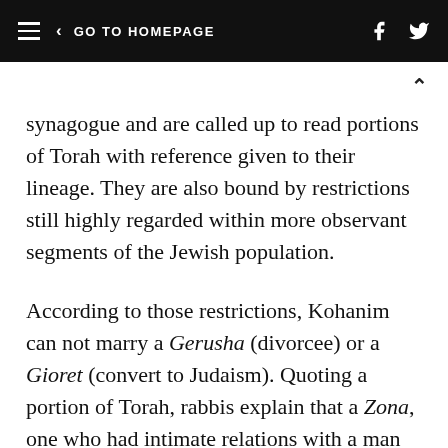≡ < GO TO HOMEPAGE
synagogue and are called up to read portions of Torah with reference given to their lineage. They are also bound by restrictions still highly regarded within more observant segments of the Jewish population.
According to those restrictions, Kohanim can not marry a Gerusha (divorcee) or a Gioret (convert to Judaism). Quoting a portion of Torah, rabbis explain that a Zona, one who had intimate relations with a man whom she's forbidden to marry (e.g. a non-Jew) is also prohibited, as well